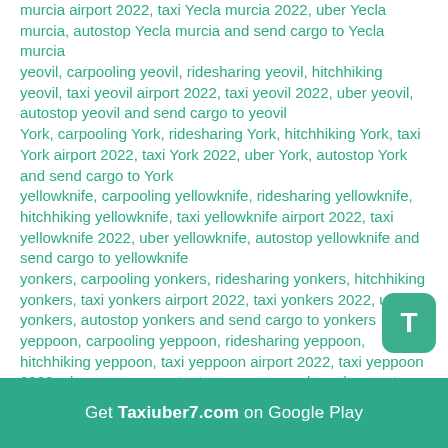murcia airport 2022, taxi Yecla murcia 2022, uber Yecla murcia, autostop Yecla murcia and send cargo to Yecla murcia yeovil, carpooling yeovil, ridesharing yeovil, hitchhiking yeovil, taxi yeovil airport 2022, taxi yeovil 2022, uber yeovil, autostop yeovil and send cargo to yeovil York, carpooling York, ridesharing York, hitchhiking York, taxi York airport 2022, taxi York 2022, uber York, autostop York and send cargo to York yellowknife, carpooling yellowknife, ridesharing yellowknife, hitchhiking yellowknife, taxi yellowknife airport 2022, taxi yellowknife 2022, uber yellowknife, autostop yellowknife and send cargo to yellowknife yonkers, carpooling yonkers, ridesharing yonkers, hitchhiking yonkers, taxi yonkers airport 2022, taxi yonkers 2022, uber yonkers, autostop yonkers and send cargo to yonkers yeppoon, carpooling yeppoon, ridesharing yeppoon, hitchhiking yeppoon, taxi yeppoon airport 2022, taxi yeppoon 2022, uber yeppoon, autostop yeppoon and send cargo to yeppoon yate, carpooling yate, ridesharing yate, hitchhiking yate, ... uber yate, autostop yate and send cargo to yate
[Figure (other): Green rounded square button with white letter T]
Get Taxiuber7.com on Google Play